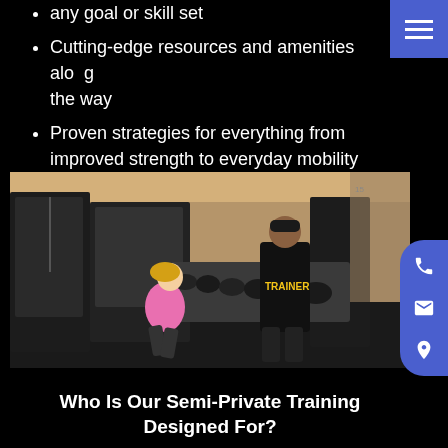any goal or skill set
Cutting-edge resources and amenities along the way
Proven strategies for everything from improved strength to everyday mobility
[Figure (photo): A personal trainer wearing a black 'TRAINER' shirt stands in a gym full of dumbbells, coaching a woman in a pink top who is in a squat position. Gym equipment and mirrors are visible in the background.]
Who Is Our Semi-Private Training Designed For?